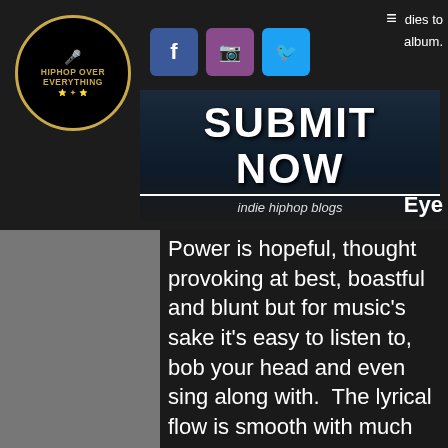[Figure (logo): HipHop Over Everything circular logo with gold border]
[Figure (screenshot): Social media icons: Facebook (blue), Instagram (purple), Twitter (blue)]
[Figure (screenshot): Submit Now banner with subtitle 'indie hiphop blogs']
...dies to album. Eye
Power is hopeful, thought provoking at best, boastful and blunt but for music's sake it's easy to listen to, bob your head and even sing along with.  The lyrical flow is smooth with much charm, while naturally exuding his passion for the mic.
Rewind worthy tracks include It's a Wrap, For Those and Dear Mami Nyanga, where Maid also naturally sings the hook. Enlisting guest like Big Twins of Infamous Mobb, Ras Kass, Ruste Juxx and Stic of Dead Prez, this colorful album's palette is a vacation